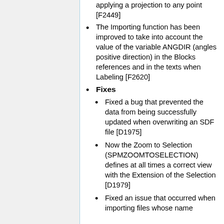applying a projection to any point [F2449]
The Importing function has been improved to take into account the value of the variable ANGDIR (angles positive direction) in the Blocks references and in the texts when Labeling [F2620]
Fixes
Fixed a bug that prevented the data from being successfully updated when overwriting an SDF file [D1975]
Now the Zoom to Selection (SPMZOOMTOSELECTION) defines at all times a correct view with the Extension of the Selection [D1979]
Fixed an issue that occurred when importing files whose name